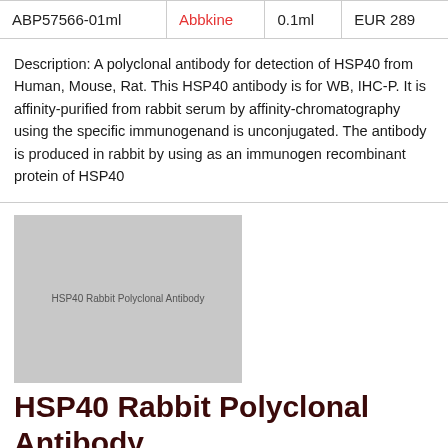| ABP57566-01ml | Abbkine | 0.1ml | EUR 289 |
Description: A polyclonal antibody for detection of HSP40 from Human, Mouse, Rat. This HSP40 antibody is for WB, IHC-P. It is affinity-purified from rabbit serum by affinity-chromatography using the specific immunogenand is unconjugated. The antibody is produced in rabbit by using as an immunogen recombinant protein of HSP40
[Figure (photo): Placeholder image for HSP40 Rabbit Polyclonal Antibody product]
HSP40 Rabbit Polyclonal Antibody
|  |  |  |  |